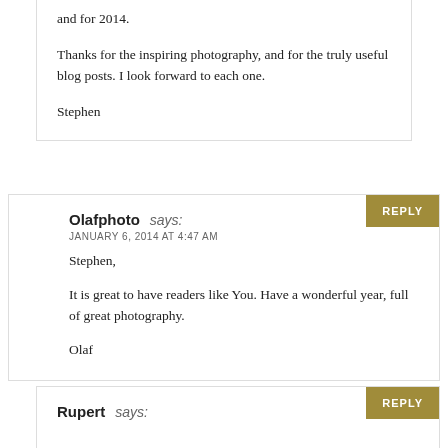and for 2014.
Thanks for the inspiring photography, and for the truly useful blog posts. I look forward to each one.
Stephen
REPLY
Olafphoto says:
JANUARY 6, 2014 AT 4:47 AM
Stephen,
It is great to have readers like You. Have a wonderful year, full of great photography.
Olaf
REPLY
Rupert says: